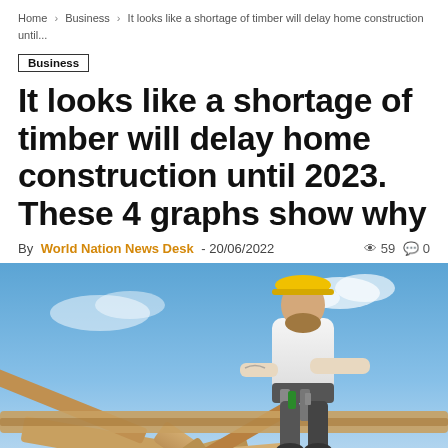Home > Business > It looks like a shortage of timber will delay home construction until...
Business
It looks like a shortage of timber will delay home construction until 2023. These 4 graphs show why
By World Nation News Desk - 20/06/2022   59  0
[Figure (photo): Construction worker in white t-shirt and yellow hard hat working on a wooden roof frame structure against a blue sky. The worker is handling large timber beams forming triangular roof trusses.]